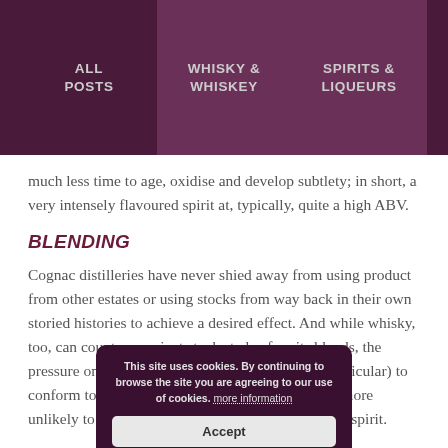ALL POSTS | WHISKY & WHISKEY | SPIRITS & LIQUEURS
much less time to age, oxidise and develop subtlety; in short, a very intensely flavoured spirit at, typically, quite a high ABV.
BLENDING
Cognac distilleries have never shied away from using product from other estates or using stocks from way back in their own storied histories to achieve a desired effect. And while whisky, too, can count on ancient stocks to beef up its blends, the pressure on whisky distilleries (Scottish ones in particular) to conform to age statements perhaps makes it much more unlikely to see older whisky mixed in with younger spirit.
HOW TO DRINK THEM
Where whisky may have developed a puritanical culture, the modernisation of Cognac means that Cognac cocktails are in no short supply, and even simply mixing it is not out of the question.
This site uses cookies. By continuing to browse the site you are agreeing to our use of cookies. more information | Accept